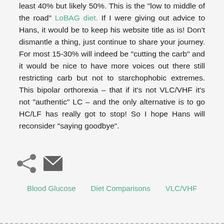least 40% but likely 50%.  This is the "low to middle of the road" LoBAG diet.  If I were giving out advice to Hans, it would be to keep his website title as is!   Don't dismantle a thing, just continue to share your journey.  For most 15-30% will indeed be "cutting the carb" and it would be nice to have more voices out there still restricting carb but not to starchophobic extremes.  This bipolar orthorexia – that if it's not VLC/VHF it's not "authentic" LC  – and the only alternative is to go HC/LF has really got to stop!  So I hope Hans will reconsider "saying goodbye".
[Figure (other): Share icon (less-than symbol with three dots) and email envelope icon for social sharing]
Blood Glucose   Diet Comparisons   VLC/VHF